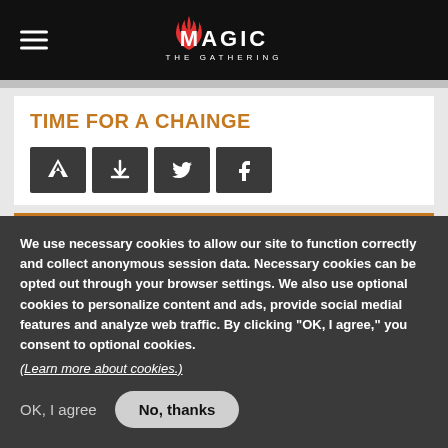Magic: The Gathering
TIME FOR A CHAINGE
[Figure (other): Four icon buttons: Arena, Download, Twitter, Facebook]
DECKLIST
We use necessary cookies to allow our site to function correctly and collect anonymous session data. Necessary cookies can be opted out through your browser settings. We also use optional cookies to personalize content and ads, provide social medial features and analyze web traffic. By clicking "OK, I agree," you consent to optional cookies. (Learn more about cookies.)